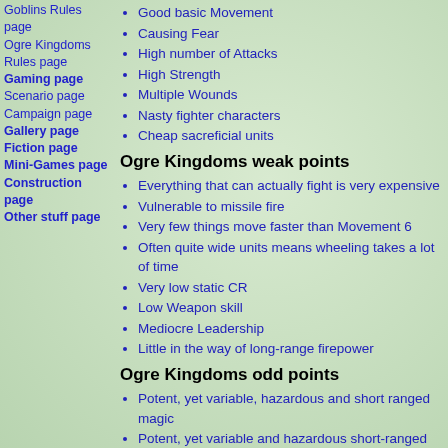Goblins Rules page
Ogre Kingdoms Rules page
Gaming page
Scenario page
Campaign page
Gallery page
Fiction page
Mini-Games page
Construction page
Other stuff page
Good basic Movement
Causing Fear
High number of Attacks
High Strength
Multiple Wounds
Nasty fighter characters
Cheap sacreficial units
Ogre Kingdoms weak points
Everything that can actually fight is very expensive
Vulnerable to missile fire
Very few things move faster than Movement 6
Often quite wide units means wheeling takes a lot of time
Very low static CR
Low Weapon skill
Mediocre Leadership
Little in the way of long-range firepower
Ogre Kingdoms odd points
Potent, yet variable, hazardous and short ranged magic
Potent, yet variable and hazardous short-ranged